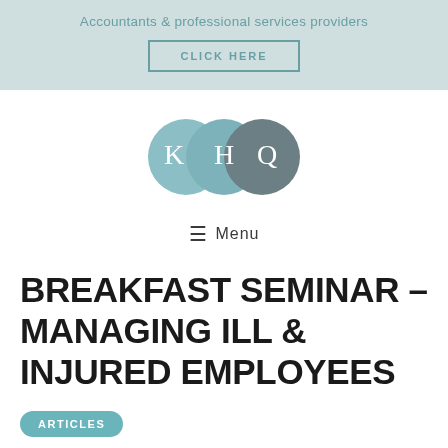Accountants & professional services providers
CLICK HERE
[Figure (logo): KHQ logo with three overlapping circles in teal and grey colors containing letters K, H, Q]
≡  Menu
BREAKFAST SEMINAR – MANAGING ILL & INJURED EMPLOYEES
ARTICLES